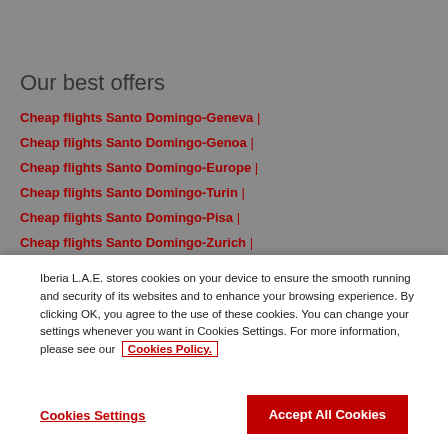Our best offers
Cheap flights Santo Domingo-Geneva
Cheap flights Santo Domingo-Genoa
Cheap flights Santo Domingo-Europe
Cheap flights Santo Domingo-Turin
Cheap flights Santo Domingo-Pisa
Cheap flights Santo Domingo-Zurich
Iberia L.A.E. stores cookies on your device to ensure the smooth running and security of its websites and to enhance your browsing experience. By clicking OK, you agree to the use of these cookies. You can change your settings whenever you want in Cookies Settings. For more information, please see our Cookies Policy.
Cookies Settings
Accept All Cookies